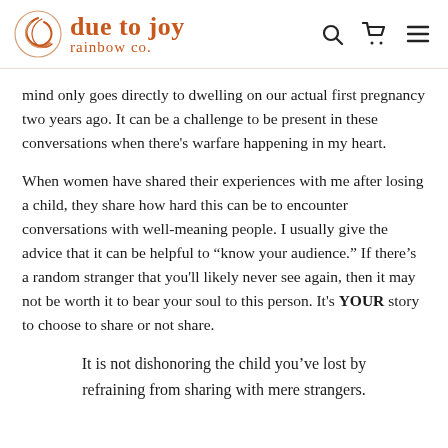due to joy rainbow co.
mind only goes directly to dwelling on our actual first pregnancy two years ago. It can be a challenge to be present in these conversations when there's warfare happening in my heart.
When women have shared their experiences with me after losing a child, they share how hard this can be to encounter conversations with well-meaning people. I usually give the advice that it can be helpful to “know your audience.” If there’s a random stranger that you'll likely never see again, then it may not be worth it to bear your soul to this person. It's YOUR story to choose to share or not share.
It is not dishonoring the child you’ve lost by refraining from sharing with mere strangers.